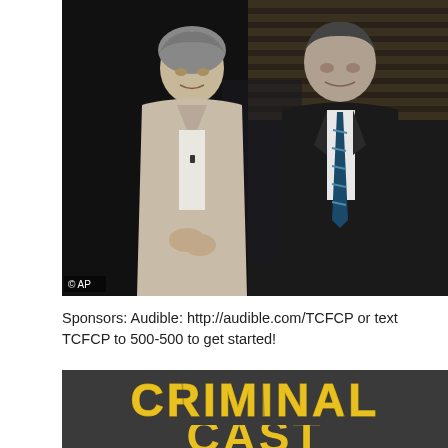[Figure (photo): Black and white photograph of two people standing side by side. A woman in a light blazer on the left with hands clasped, and a man in a dark suit with a striped tie on the right. Bookshelves visible in the background. Small '© AP' watermark in the bottom left corner.]
Sponsors: Audible: http://audible.com/TCFCP or text TCFCP to 500-500 to get started!
[Figure (logo): Dark gray background with large yellow distressed block letters reading 'CRIMINAL' on top and the beginning of a second word (likely 'CAST') partially visible below, in the same yellow distressed style.]